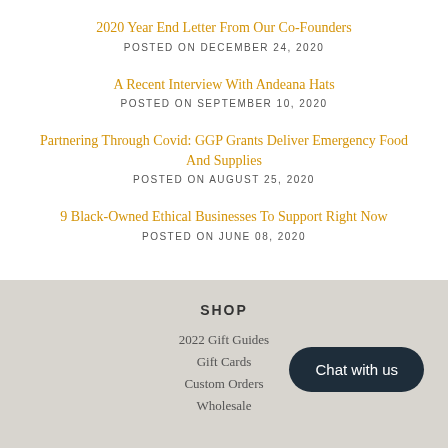2020 Year End Letter From Our Co-Founders
POSTED ON DECEMBER 24, 2020
A Recent Interview With Andeana Hats
POSTED ON SEPTEMBER 10, 2020
Partnering Through Covid: GGP Grants Deliver Emergency Food And Supplies
POSTED ON AUGUST 25, 2020
9 Black-Owned Ethical Businesses To Support Right Now
POSTED ON JUNE 08, 2020
SHOP
2022 Gift Guides
Gift Cards
Custom Orders
Wholesale